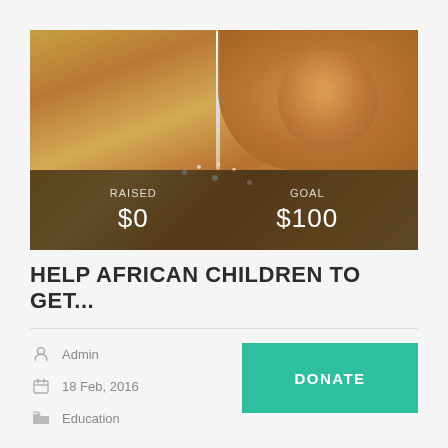[Figure (photo): A child catching water splashing up from below with a teal organizational logo shape overlaid on the top-left. Dark overlay at bottom showing RAISED $0 and GOAL $100.]
HELP AFRICAN CHILDREN TO GET...
Admin
18 Feb, 2016
Education